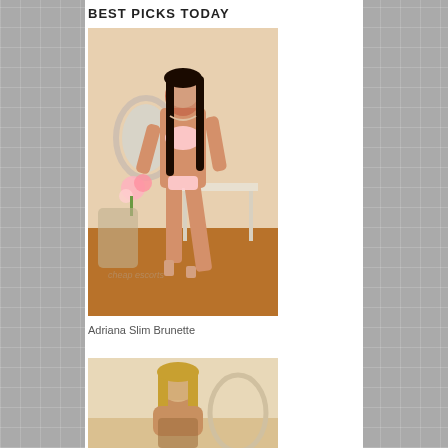BEST PICKS TODAY
[Figure (photo): Full body photo of a slim brunette woman in lingerie posing next to a white vanity table with a mirror and flowers in the background. Face is blurred/obscured.]
Adriana Slim Brunette
[Figure (photo): Partial photo of a blonde woman, head and upper body visible, face blurred/obscured.]